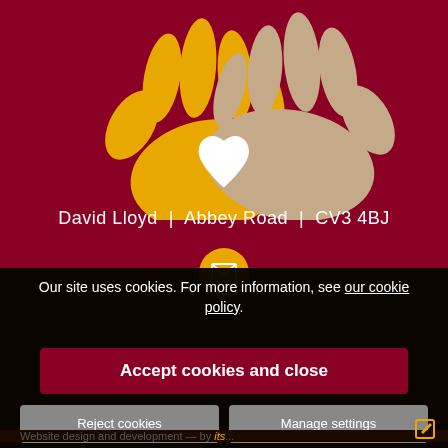[Figure (illustration): Two hands (one yellow/gold, one tan/beige) pointing toward each other with a white heart between them on a dark red background — a caring/community logo]
David Lloyd | Abbey Road | CV3 4BJ
[Figure (illustration): Yellow circular email/envelope icon button]
Our site uses cookies. For more information, see our cookie policy.
Accept cookies and close
Reject cookies
Manage settings
Website design and development — by its...